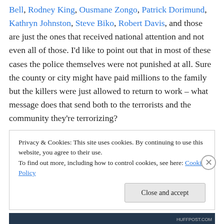Bell, Rodney King, Ousmane Zongo, Patrick Dorimund, Kathryn Johnston, Steve Biko, Robert Davis, and those are just the ones that received national attention and not even all of those. I'd like to point out that in most of these cases the police themselves were not punished at all. Sure the county or city might have paid millions to the family but the killers were just allowed to return to work – what message does that send both to the terrorists and the community they're terrorizing?
If you live with that constant fear you don't need to see the
Privacy & Cookies: This site uses cookies. By continuing to use this website, you agree to their use.
To find out more, including how to control cookies, see here: Cookie Policy